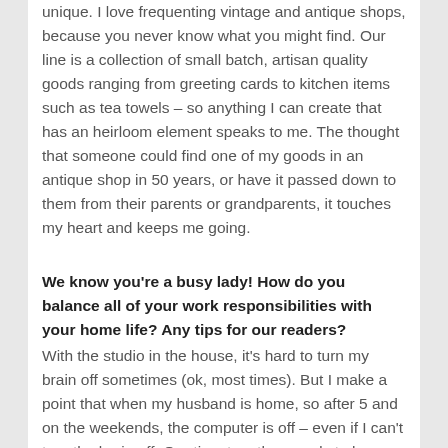unique. I love frequenting vintage and antique shops, because you never know what you might find. Our line is a collection of small batch, artisan quality goods ranging from greeting cards to kitchen items such as tea towels – so anything I can create that has an heirloom element speaks to me. The thought that someone could find one of my goods in an antique shop in 50 years, or have it passed down to them from their parents or grandparents, it touches my heart and keeps me going.
We know you're a busy lady! How do you balance all of your work responsibilities with your home life? Any tips for our readers?
With the studio in the house, it's hard to turn my brain off sometimes (ok, most times). But I make a point that when my husband is home, so after 5 and on the weekends, the computer is off – even if I can't turn the brain off. Our time together needs to be exactly that, our time together – even if it's just being lazy on the